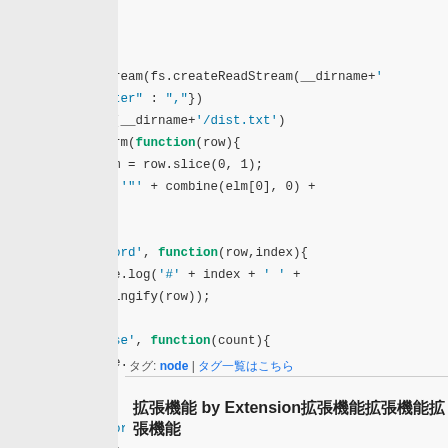[Figure (screenshot): Code block showing JavaScript lines 8–25 with line numbers on left, green vertical bar separator, and syntax-highlighted code on right. Keywords in blue-bold, strings in blue, function keyword in teal-bold.]
タグ: node | タグ一覧はこちら
拡張機能 by Extension拡張機能拡張機能拡張機能